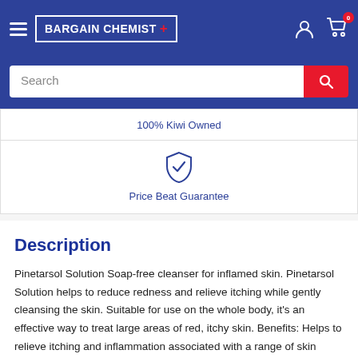[Figure (logo): Bargain Chemist logo with red cross in a white bordered box on blue header background]
Search
100% Kiwi Owned
[Figure (illustration): Shield with checkmark icon in blue]
Price Beat Guarantee
Description
Pinetarsol Solution Soap-free cleanser for inflamed skin. Pinetarsol Solution helps to reduce redness and relieve itching while gently cleansing the skin. Suitable for use on the whole body, it's an effective way to treat large areas of red, itchy skin. Benefits: Helps to relieve itching and inflammation associated with a range of skin conditions, such as dermatitis, eczema